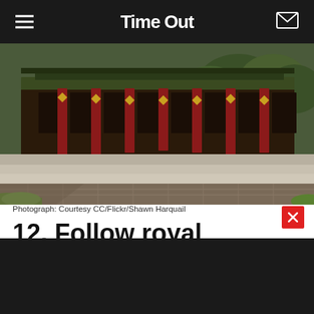Time Out
[Figure (photo): Vietnamese royal temple corridor with red columns, ornate wooden architecture, stone steps and paved walkway, green grass in foreground. Courtesy CC/Flickr/Shawn Harquail]
Photograph: Courtesy CC/Flickr/Shawn Harquail
12. Follow royal footsteps in the atmospheric former capital